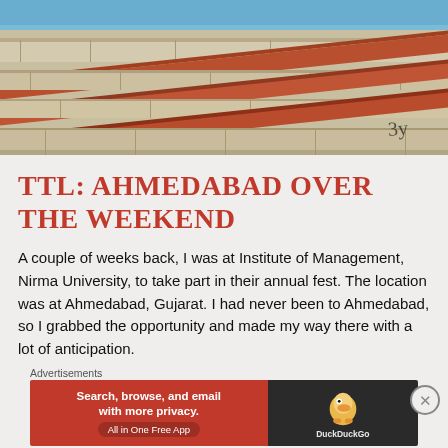[Figure (photo): Close-up photo of an old stone and brick architectural structure with layered stonework and terracotta-colored bricks, against a blue sky. A handwritten signature or initials appear in the lower right.]
TTL: AHMEDABAD OVER THE WEEKEND
A couple of weeks back, I was at Institute of Management, Nirma University, to take part in their annual fest. The location was at Ahmedabad, Gujarat. I had never been to Ahmedabad, so I grabbed the opportunity and made my way there with a lot of anticipation.
[Figure (infographic): Advertisement banner for DuckDuckGo: 'Search, browse, and email with more privacy. All in One Free App' with DuckDuckGo logo on dark background.]